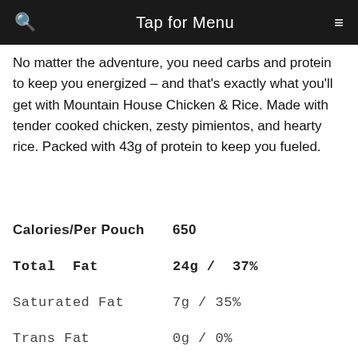Tap for Menu
No matter the adventure, you need carbs and protein to keep you energized – and that’s exactly what you’ll get with Mountain House Chicken & Rice. Made with tender cooked chicken, zesty pimientos, and hearty rice. Packed with 43g of protein to keep you fueled.
| Nutrient | Amount / DV% |
| --- | --- |
| Calories/Per Pouch | 650 |
| Total Fat | 24g / 37% |
| Saturated Fat | 7g / 35% |
| Trans Fat | 0g / 0% |